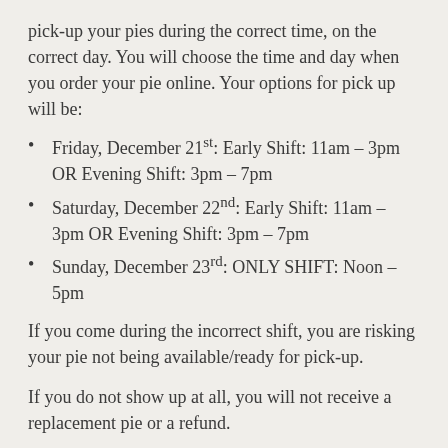pick-up your pies during the correct time, on the correct day. You will choose the time and day when you order your pie online. Your options for pick up will be:
Friday, December 21st: Early Shift: 11am - 3pm OR Evening Shift: 3pm - 7pm
Saturday, December 22nd: Early Shift: 11am - 3pm OR Evening Shift: 3pm - 7pm
Sunday, December 23rd: ONLY SHIFT: Noon - 5pm
If you come during the incorrect shift, you are risking your pie not being available/ready for pick-up.
If you do not show up at all, you will not receive a replacement pie or a refund.
If you decide to not pre-order a pie, we do bake a